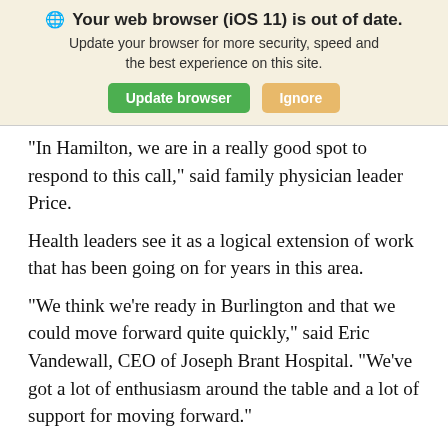Your web browser (iOS 11) is out of date. Update your browser for more security, speed and the best experience on this site. [Update browser] [Ignore]
“In Hamilton, we are in a really good spot to respond to this call,” said family physician leader Price.
Health leaders see it as a logical extension of work that has been going on for years in this area.
“We think we’re ready in Burlington and that we could move forward quite quickly,” said Eric Vandewall, CEO of Joseph Brant Hospital. “We’ve got a lot of enthusiasm around the table and a lot of support for moving forward.”